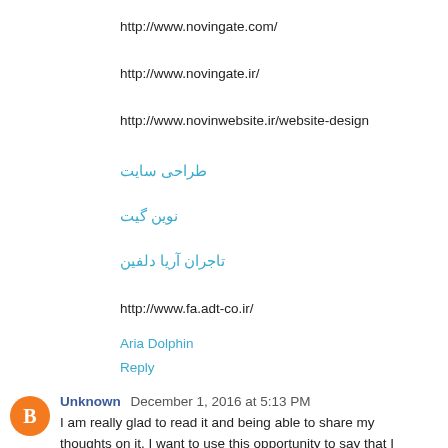http://www.novingate.com/
http://www.novingate.ir/
http://www.novinwebsite.ir/website-design
طراحی سایت
نوین گیت
تاجران آریا دلفین
http://www.fa.adt-co.ir/
Aria Dolphin
Reply
Unknown December 1, 2016 at 5:13 PM
I am really glad to read it and being able to share my thoughts on it. I want to use this opportunity to say that I